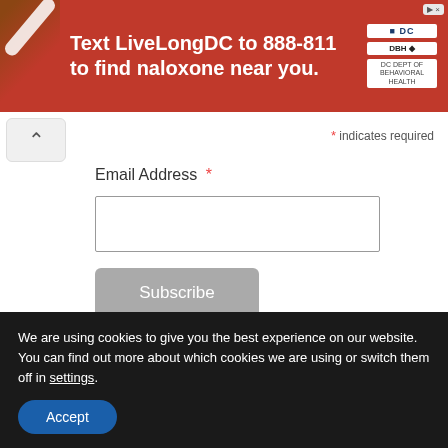[Figure (infographic): Red banner advertisement: Text LiveLongDC to 888-811 to find naloxone near you. DC Department of Behavioral Health logo on right.]
[Figure (screenshot): Collapse/chevron-up button]
* indicates required
Email Address *
[Figure (screenshot): Email address text input field]
[Figure (screenshot): Subscribe button]
[Figure (infographic): Audible advertisement banner with audible logo and people]
We are using cookies to give you the best experience on our website. You can find out more about which cookies we are using or switch them off in settings.
[Figure (screenshot): Accept button (blue, pill-shaped)]